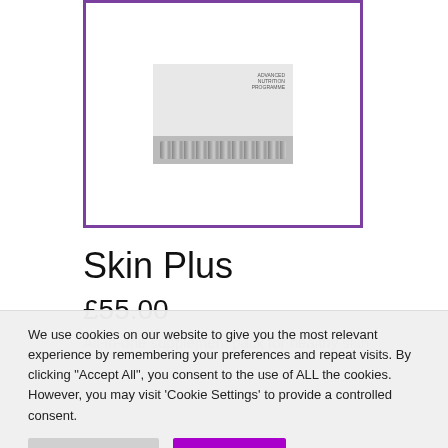[Figure (photo): Product image of Skin Plus supplement pack inside a purple-bordered box with decorative stripe pattern at bottom]
Skin Plus
£55.00
All-in-one supplement pack for healthy skin
We use cookies on our website to give you the most relevant experience by remembering your preferences and repeat visits. By clicking "Accept All", you consent to the use of ALL the cookies. However, you may visit 'Cookie Settings' to provide a controlled consent.